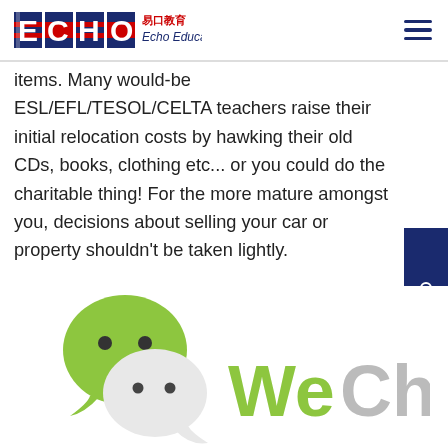[Figure (logo): Echo Education logo with ECHO text in red/blue striped letters and Chinese characters 易口教育]
items. Many would-be ESL/EFL/TESOL/CELTA teachers raise their initial relocation costs by hawking their old CDs, books, clothing etc... or you could do the charitable thing! For the more mature amongst you, decisions about selling your car or property shouldn't be taken lightly.
Install WeChat – China's WhatsApp
[Figure (logo): WeChat logo showing two green and white speech bubble characters with eyes and WeChat text in green and grey]